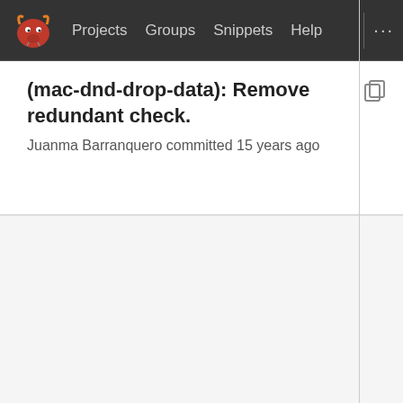Projects  Groups  Snippets  Help  ...
(mac-dnd-drop-data): Remove redundant check.
Juanma Barranquero committed 15 years ago